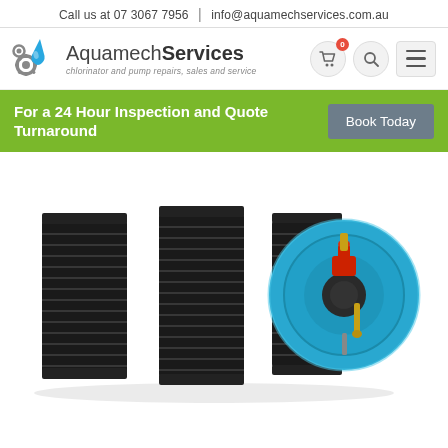Call us at 07 3067 7956  |  info@aquamechservices.com.au
[Figure (logo): Aquamech Services logo with water drop and gear icons, text: 'AquamechServices - chlorinator and pump repairs, sales and service']
For a 24 Hour Inspection and Quote Turnaround
Book Today
[Figure (photo): A chlorinator cell / electrolytic cell component with black finned plates and a blue circular end cap with red and gold terminals, on a white background.]